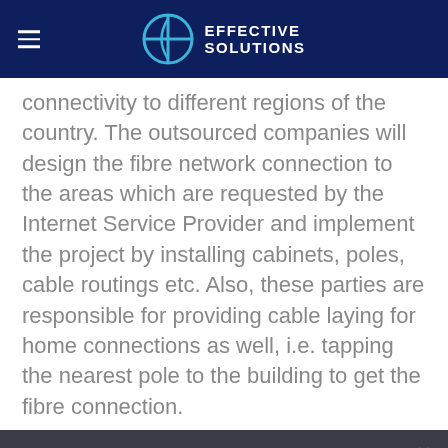EFFECTIVE SOLUTIONS
connectivity to different regions of the country. The outsourced companies will design the fibre network connection to the areas which are requested by the Internet Service Provider and implement the project by installing cabinets, poles, cable routings etc. Also, these parties are responsible for providing cable laying for home connections as well, i.e. tapping the nearest pole to the building to get the fibre connection.
We use cookies to ensure that we give you the best experience on our website. If you continue to use this site we will assume that you are happy with it.